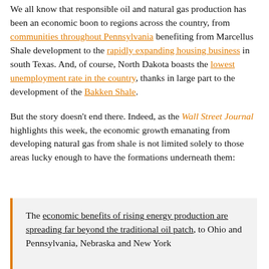We all know that responsible oil and natural gas production has been an economic boon to regions across the country, from communities throughout Pennsylvania benefiting from Marcellus Shale development to the rapidly expanding housing business in south Texas. And, of course, North Dakota boasts the lowest unemployment rate in the country, thanks in large part to the development of the Bakken Shale.

But the story doesn't end there. Indeed, as the Wall Street Journal highlights this week, the economic growth emanating from developing natural gas from shale is not limited solely to those areas lucky enough to have the formations underneath them:
The economic benefits of rising energy production are spreading far beyond the traditional oil patch, to Ohio and Pennsylvania, Nebraska and New York